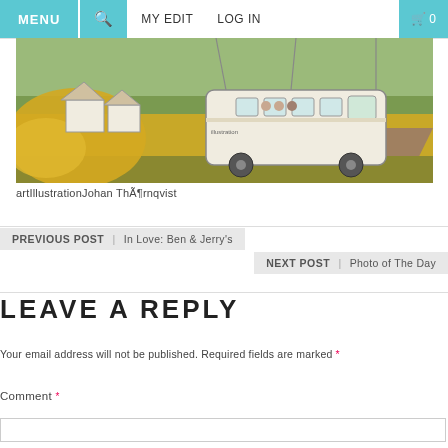MENU  🔍  MY EDIT  LOG IN  🛒 0
[Figure (photo): An illustration of a bus and small houses in a field of yellow flowers (rapeseed), with a rural road in the background. The image appears to be a mixed-media artwork combining photography and illustration.]
artIllustrationJohan ThÃ¶rnqvist
PREVIOUS POST | In Love: Ben & Jerry's
NEXT POST | Photo of The Day
LEAVE A REPLY
Your email address will not be published. Required fields are marked *
Comment *